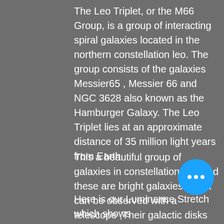The Leo Triplet, or the M66 Group, is a group of interacting spiral galaxies located in the northern constellation leo. The group consists of the galaxies Messier65 , Messier 66 and NGC 3628 also known as the Hamburger Galaxy. The Leo Triplet lies at an approximate distance of 35 million light years from Earth.
This a beautiful group of galaxies in constellation Leo and these are bright galaxies which can be observed with a telescope ,Their galactic disks are tilted at different angles when seen from Earth. NGC 3628 appears edge-on, while M65 and M66 are inclined enough to reveal their spiral arm
Here is our Luminance Stretch which shows